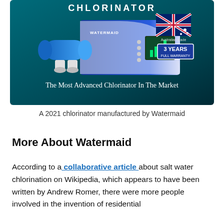[Figure (photo): Product advertisement image for a Watermaid chlorinator. Shows a blue and white electronic chlorinator unit with a blue cylindrical salt cell on the left. The background is teal/dark. Top text reads 'CHLORINATOR' in white. An Australian flag with text 'Australian Made' and a '3 YEARS FULL WARRANTY' badge appear on the right. Bottom text reads 'The Most Advanced Chlorinator In The Market'.]
A 2021 chlorinator manufactured by Watermaid
More About Watermaid
According to a collaborative article about salt water chlorination on Wikipedia, which appears to have been written by Andrew Romer, there were more people involved in the invention of residential